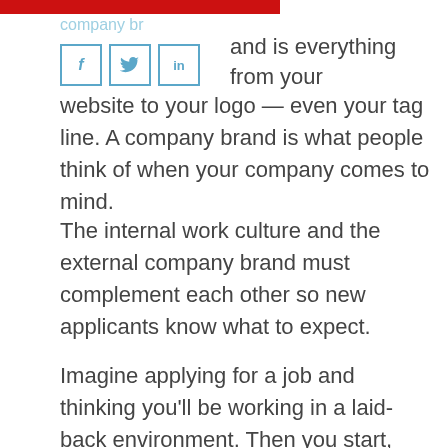company brand
[Figure (other): Social media share icons: Facebook (f), Twitter (bird), LinkedIn (in) — outlined square buttons in blue]
and is everything from your website to your logo — even your tag line. A company brand is what people think of when your company comes to mind.
The internal work culture and the external company brand must complement each other so new applicants know what to expect.
Imagine applying for a job and thinking you'll be working in a laid-back environment. Then you start, and the atmosphere is chaos. You'd want to quit, I'm sure!